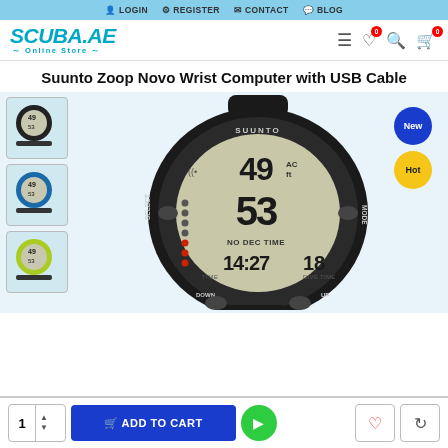LOGIN   REGISTER   CONTACT   BLOG
[Figure (logo): SCUBA.AE Online Store logo in blue teal italic font]
Suunto Zoop Novo Wrist Computer with USB Cable
[Figure (photo): Product thumbnails: black Suunto Zoop Novo with USB cable, blue version, yellow-green version]
[Figure (photo): Main product image: Suunto Zoop Novo dive computer wrist watch showing display with 49ft depth, 53, NO DEC TIME, TIME 14:27, DIVE TIME 18. Badges: New (blue circle), Hot (yellow circle)]